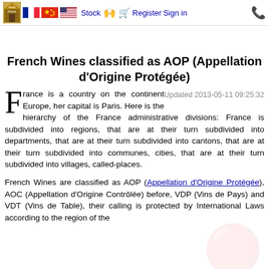Asia Home | [French flag] [Chinese flag] [US flag] Stock | Register | Sign in | [phone icon]
French Wines classified as AOP (Appellation d'Origine Protégée)
France is a country on the continent Europe, her capital is Paris. Here is the hierarchy of the France administrative divisions: France is subdivided into regions, that are at their turn subdivided into departments, that are at their turn subdivided into cantons, that are at their turn subdivided into communes, cities, that are at their turn subdivided into villages, called-places.
French Wines are classified as AOP (Appellation d'Origine Protégée), AOC (Appellation d'Origine Contrôlée) before, VDP (Vins de Pays) and VDT (Vins de Table), their calling is protected by International Laws according to the region of the